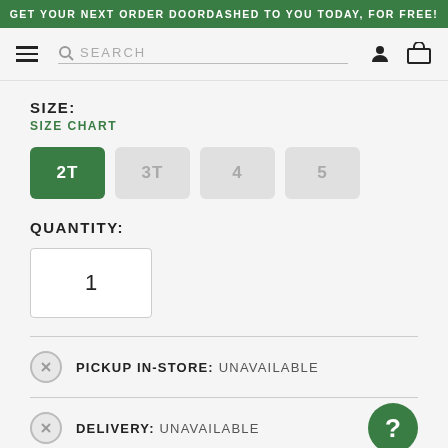GET YOUR NEXT ORDER DOORDASHED TO YOU TODAY, FOR FREE!
SIZE:
SIZE CHART
2T  3T  4  5
QUANTITY:
1
PICKUP IN-STORE:  UNAVAILABLE
DELIVERY:  UNAVAILABLE